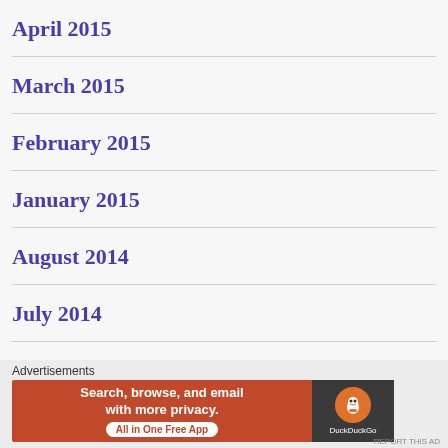April 2015
March 2015
February 2015
January 2015
August 2014
July 2014
June 2014
Advertisements
Search, browse, and email with more privacy.
All in One Free App
DuckDuckGo